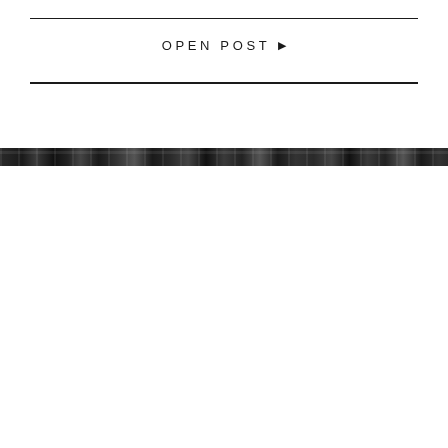OPEN POST ▶
[Figure (photo): A narrow horizontal strip of a dark, blurry photographic image spanning the full width of the page]